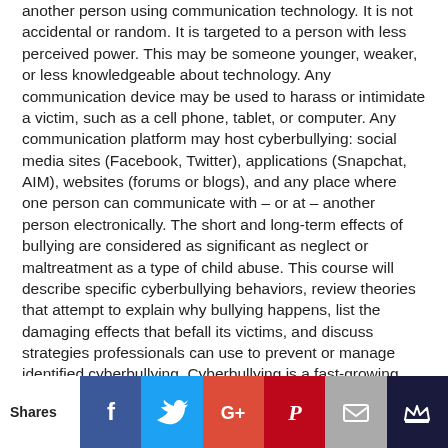another person using communication technology. It is not accidental or random. It is targeted to a person with less perceived power. This may be someone younger, weaker, or less knowledgeable about technology. Any communication device may be used to harass or intimidate a victim, such as a cell phone, tablet, or computer. Any communication platform may host cyberbullying: social media sites (Facebook, Twitter), applications (Snapchat, AIM), websites (forums or blogs), and any place where one person can communicate with – or at – another person electronically. The short and long-term effects of bullying are considered as significant as neglect or maltreatment as a type of child abuse. This course will describe specific cyberbullying behaviors, review theories that attempt to explain why bullying happens, list the damaging effects that befall its victims, and discuss strategies professionals can use to prevent or manage identified cyberbullying. Cyberbullying is a fast-growing area of concern and all healthcare professionals should be equipped to spot the signs and provide support for our patients and clients, as well as keep up with the technology that drives cyberbullying. Course #21-09 | 2016 | 32 pages | 20 posttest questions
[Figure (infographic): Social sharing bar with Facebook, Twitter, Google+, Pinterest, Email, and Crown icon buttons]